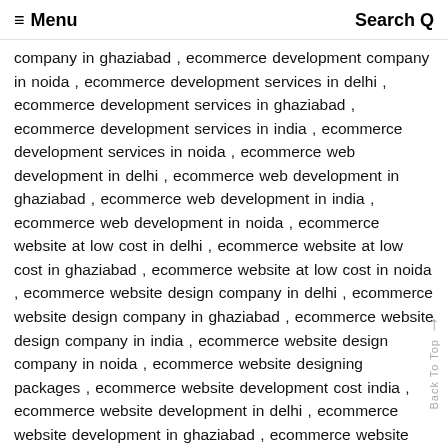≡ Menu   Search Q
company in ghaziabad , ecommerce development company in noida , ecommerce development services in delhi , ecommerce development services in ghaziabad , ecommerce development services in india , ecommerce development services in noida , ecommerce web development in delhi , ecommerce web development in ghaziabad , ecommerce web development in india , ecommerce web development in noida , ecommerce website at low cost in delhi , ecommerce website at low cost in ghaziabad , ecommerce website at low cost in noida , ecommerce website design company in delhi , ecommerce website design company in ghaziabad , ecommerce website design company in india , ecommerce website design company in noida , ecommerce website designing packages , ecommerce website development cost india , ecommerce website development in delhi , ecommerce website development in ghaziabad , ecommerce website development in india , ecommerce website development in